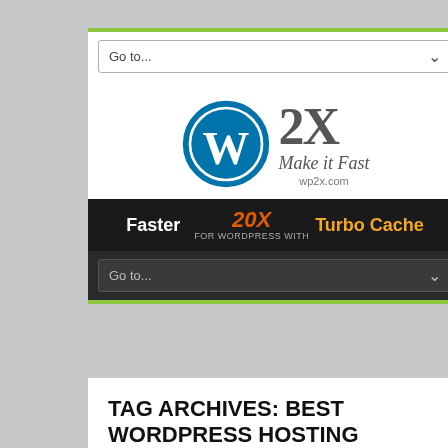[Figure (screenshot): Navigation dropdown bar with 'Go to...' text and chevron arrow, white background with border]
[Figure (logo): WP2X logo: WordPress blue circle icon with W, followed by bold '2X' text, 'Make it Fast' italic tagline, and 'wp2x.com' URL]
[Figure (infographic): Black banner: 'Faster' white bold text, '20X' orange italic text, 'for WORDPRESS with' small text, 'Turbo Cache' orange bold text]
[Figure (screenshot): Dark navigation dropdown bar with 'Go to...' text and chevron, dark background]
TAG ARCHIVES: BEST WORDPRESS HOSTING
WordPress